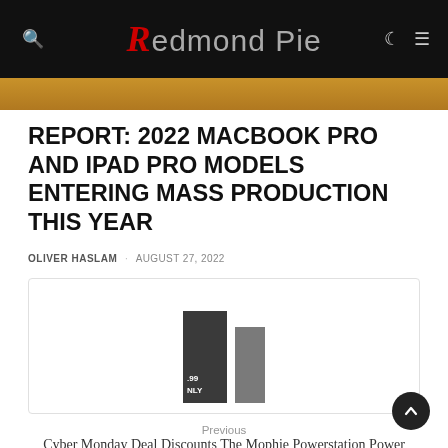Redmond Pie
[Figure (photo): Golden/bronze hero image strip at top of article]
REPORT: 2022 MACBOOK PRO AND IPAD PRO MODELS ENTERING MASS PRODUCTION THIS YEAR
OLIVER HASLAM · AUGUST 27, 2022
[Figure (photo): Two dark gray rectangular power bank / portable battery products side by side with partial price text visible on the left one reading .99 NLY]
Previous
Cyber Monday Deal Discounts The Mophie Powerstation Power Bank With 6000mAh